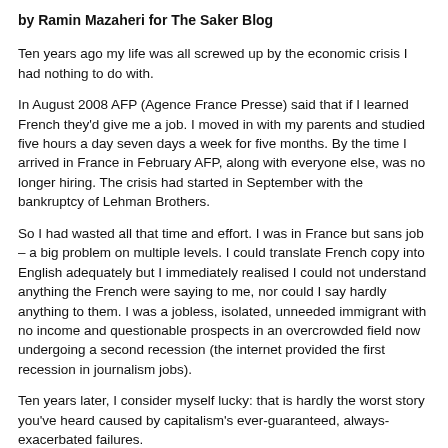by Ramin Mazaheri for The Saker Blog
Ten years ago my life was all screwed up by the economic crisis I had nothing to do with.
In August 2008 AFP (Agence France Presse) said that if I learned French they'd give me a job. I moved in with my parents and studied five hours a day seven days a week for five months. By the time I arrived in France in February AFP, along with everyone else, was no longer hiring. The crisis had started in September with the bankruptcy of Lehman Brothers.
So I had wasted all that time and effort. I was in France but sans job – a big problem on multiple levels. I could translate French copy into English adequately but I immediately realised I could not understand anything the French were saying to me, nor could I say hardly anything to them. I was a jobless, isolated, unneeded immigrant with no income and questionable prospects in an overcrowded field now undergoing a second recession (the internet provided the first recession in journalism jobs).
Ten years later, I consider myself lucky: that is hardly the worst story you've heard caused by capitalism's ever-guaranteed, always-exacerbated failures.